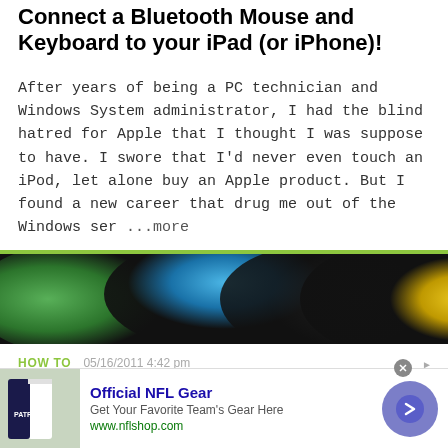Connect a Bluetooth Mouse and Keyboard to your iPad (or iPhone)!
After years of being a PC technician and Windows System administrator, I had the blind hatred for Apple that I thought I was suppose to have. I swore that I'd never even touch an iPod, let alone buy an Apple product. But I found a new career that drug me out of the Windows ser ...more
[Figure (photo): Colorful abstract blurred circles in green, blue, and yellow on dark background]
HOW TO   05/16/2011 4:42 pm
Browse the Web Much Faster in Google Chrome
Despite the fact that you may not find this as a necessity, if you do follow this quick guide, you will wonder how you ever managed before. This tutorial is based on the
[Figure (infographic): Advertisement for Official NFL Gear showing NFL jersey and navigation button]